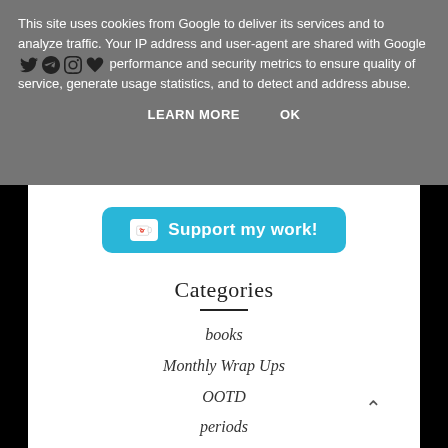This site uses cookies from Google to deliver its services and to analyze traffic. Your IP address and user-agent are shared with Google along with performance and security metrics to ensure quality of service, generate usage statistics, and to detect and address abuse.
LEARN MORE   OK
[Figure (other): Support my work button with Ko-fi cup icon in blue rounded rectangle]
Categories
books
Monthly Wrap Ups
OOTD
periods
slow fashion
travel